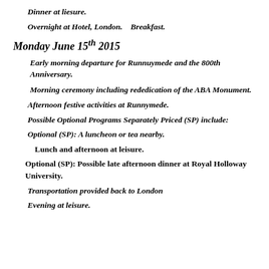Dinner at liesure.
Overnight at Hotel, London.    Breakfast.
Monday June 15th 2015
Early morning departure for Runnuymede and the 800th Anniversary.
Morning ceremony including rededication of the ABA Monument.
Afternoon festive activities at Runnymede.
Possible Optional Programs Separately Priced (SP) include:
Optional (SP): A luncheon or tea nearby.
Lunch and afternoon at leisure.
Optional (SP): Possible late afternoon dinner at Royal Holloway University.
Transportation provided back to London
Evening at leisure.